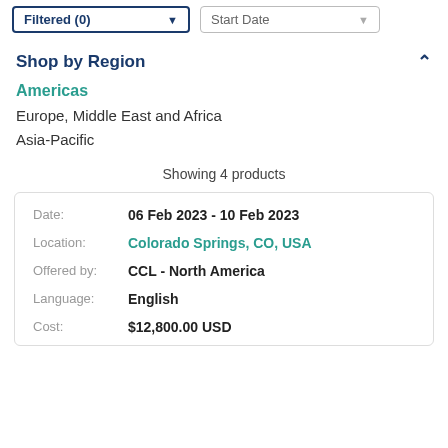Shop by Region
Americas
Europe, Middle East and Africa
Asia-Pacific
Showing 4 products
| Label | Value |
| --- | --- |
| Date: | 06 Feb 2023 - 10 Feb 2023 |
| Location: | Colorado Springs, CO, USA |
| Offered by: | CCL - North America |
| Language: | English |
| Cost: | $12,800.00 USD |